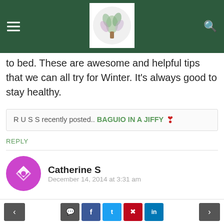Navigation header with hamburger menu, logo, and search icon
to bed. These are awesome and helpful tips that we can all try for Winter. It's always good to stay healthy.
R U S S recently posted.. BAGUIO IN A JIFFY
REPLY
Catherine S
December 14, 2014 at 3:31 am
These are really great tips that I need. I woke up today with a sore throat and cough.
REPLY
Navigation buttons: previous, comment, facebook, twitter, pinterest, linkedin, next